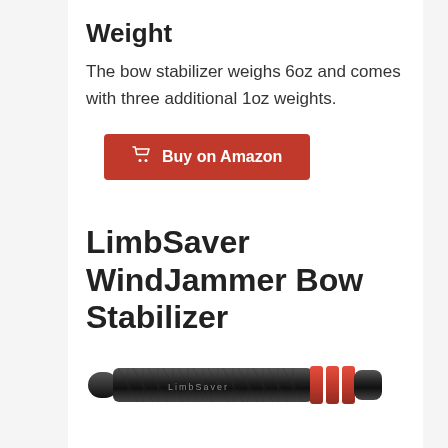Weight
The bow stabilizer weighs 6oz and comes with three additional 1oz weights.
[Figure (other): Red 'Buy on Amazon' button with shopping cart icon]
LimbSaver WindJammer Bow Stabilizer
[Figure (photo): Photo of LimbSaver WindJammer Bow Stabilizer — a black carbon-fiber tube with red rings, partially visible at bottom of page]